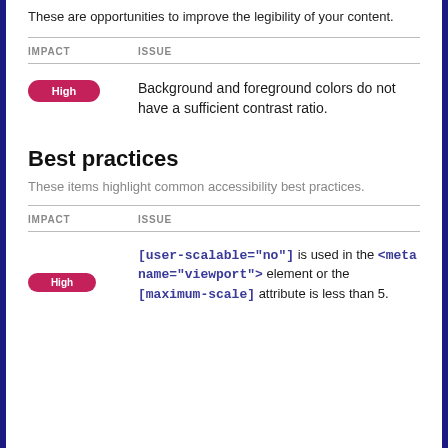These are opportunities to improve the legibility of your content.
| IMPACT | ISSUE |
| --- | --- |
| High | Background and foreground colors do not have a sufficient contrast ratio. |
Best practices
These items highlight common accessibility best practices.
| IMPACT | ISSUE |
| --- | --- |
| High | [user-scalable="no"] is used in the <meta name="viewport"> element or the [maximum-scale] attribute is less than 5. |